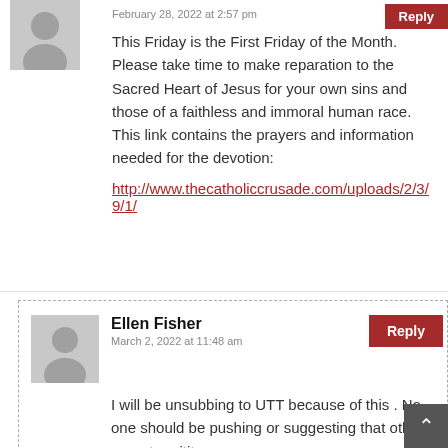February 28, 2022 at 2:57 pm
This Friday is the First Friday of the Month. Please take time to make reparation to the Sacred Heart of Jesus for your own sins and those of a faithless and immoral human race. This link contains the prayers and information needed for the devotion:
http://www.thecatholiccrusade.com/uploads/2/3/9/1/
Ellen Fisher
March 2, 2022 at 11:48 am
I will be unsubbing to UTT because of this . No one should be pushing or suggesting that others repeat repititous prayers –